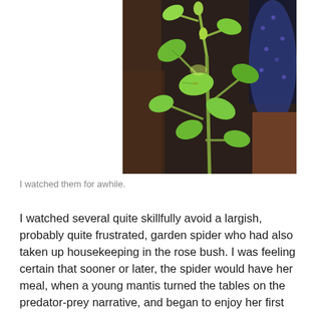[Figure (photo): Close-up photo of a rose bush with bright green leaves and buds, with a dark pot visible in the background.]
I watched them for awhile.
I watched several quite skillfully avoid a largish, probably quite frustrated, garden spider who had also taken up housekeeping in the rose bush. I was feeling certain that sooner or later, the spider would have her meal, when a young mantis turned the tables on the predator-prey narrative, and began to enjoy her first meal – of spider. Wow. Nature, way to present a life lesson!